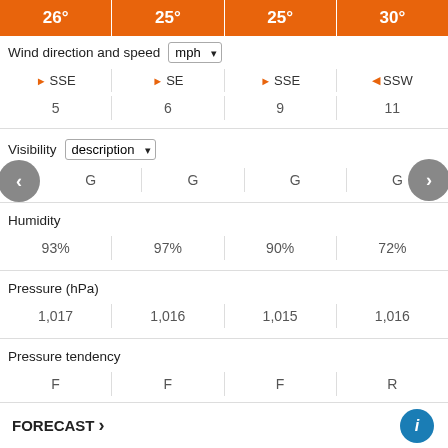| 26° | 25° | 25° | 30° |
| --- | --- | --- | --- |
| Wind direction and speed | mph |  |  |  |
| ▶ SSE 5 | ▶ SE 6 | ▶ SSE 9 | ◀ SSW 11 |
| Visibility | description |  |  |  |
| G | G | G | G |
| Humidity |  |  |  |
| 93% | 97% | 90% | 72% |
| Pressure (hPa) |  |  |  |
| 1,017 | 1,016 | 1,015 | 1,016 |
| Pressure tendency |  |  |  |
| F | F | F | R |
Updated: 20:00 (UTC+1) on Mon 22 Aug 2022
FORECAST >